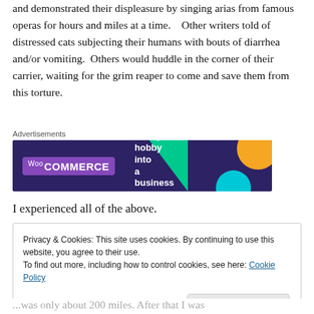and demonstrated their displeasure by singing arias from famous operas for hours and miles at a time.   Other writers told of distressed cats subjecting their humans with bouts of diarrhea and/or vomiting.  Others would huddle in the corner of their carrier, waiting for the grim reaper to come and save them from this torture.
[Figure (screenshot): WooCommerce advertisement banner with purple background, green triangle, orange and blue circles. Text: 'Turn your hobby into a business in 8 steps']
I experienced all of the above.
Privacy & Cookies: This site uses cookies. By continuing to use this website, you agree to their use.
To find out more, including how to control cookies, see here: Cookie Policy
[Close and accept button]
...was only about 200 miles. After that I was